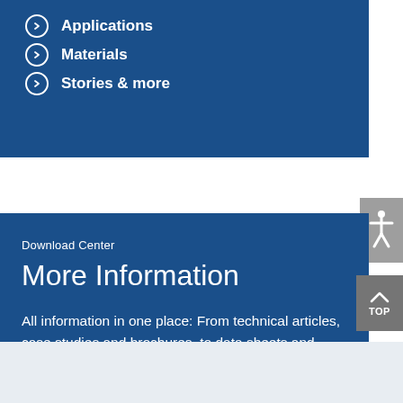Applications
Materials
Stories & more
Download Center
More Information
All information in one place: From technical articles, case studies and brochures, to data sheets and certificates.
Information & Certificates